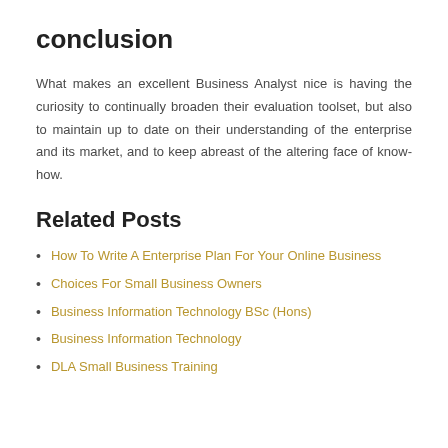conclusion
What makes an excellent Business Analyst nice is having the curiosity to continually broaden their evaluation toolset, but also to maintain up to date on their understanding of the enterprise and its market, and to keep abreast of the altering face of know-how.
Related Posts
How To Write A Enterprise Plan For Your Online Business
Choices For Small Business Owners
Business Information Technology BSc (Hons)
Business Information Technology
DLA Small Business Training